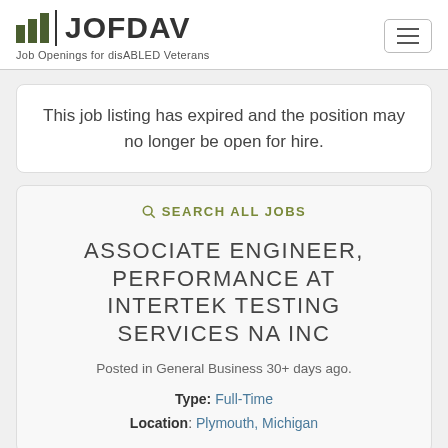JOFDAV — Job Openings for disABLED Veterans
This job listing has expired and the position may no longer be open for hire.
SEARCH ALL JOBS
ASSOCIATE ENGINEER, PERFORMANCE AT INTERTEK TESTING SERVICES NA INC
Posted in General Business 30+ days ago.
Type: Full-Time
Location: Plymouth, Michigan